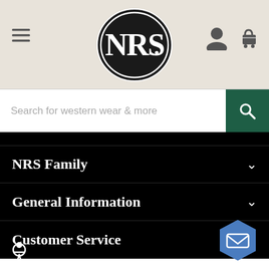[Figure (logo): NRS logo: black oval with white NRS letters and decorative border]
Search for western wear & more
NRS Family
General Information
Customer Service
Follow Us
Address 4650 S. U.S. Hwy